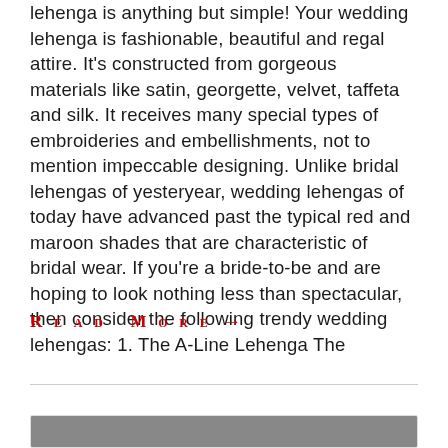lehenga is anything but simple! Your wedding lehenga is fashionable, beautiful and regal attire. It's constructed from gorgeous materials like satin, georgette, velvet, taffeta and silk. It receives many special types of embroideries and embellishments, not to mention impeccable designing. Unlike bridal lehengas of yesteryear, wedding lehengas of today have advanced past the typical red and maroon shades that are characteristic of bridal wear. If you're a bride-to-be and are hoping to look nothing less than spectacular, then consider the following trendy wedding lehengas: 1. The A-Line Lehenga The
Read More →
[Figure (photo): Partial view of a card with an image at the bottom of the page, appears to show a dark background with some decorative elements]